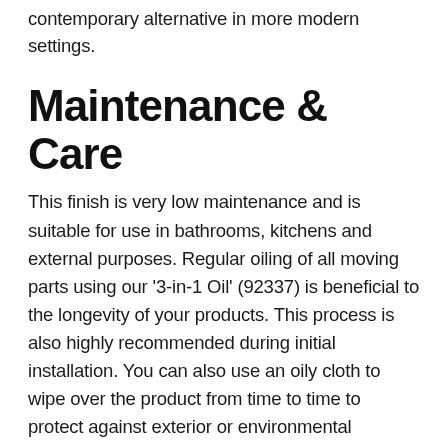contemporary alternative in more modern settings.
Maintenance & Care
This finish is very low maintenance and is suitable for use in bathrooms, kitchens and external purposes. Regular oiling of all moving parts using our '3-in-1 Oil' (92337) is beneficial to the longevity of your products. This process is also highly recommended during initial installation. You can also use an oily cloth to wipe over the product from time to time to protect against exterior or environmental elements.